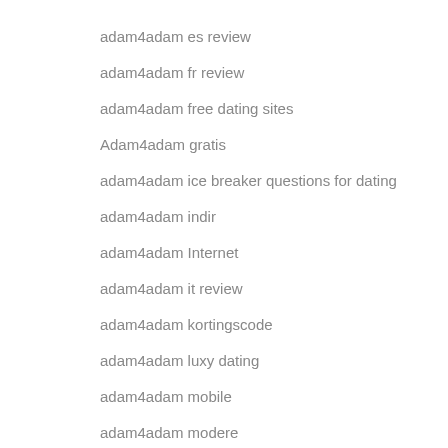adam4adam es review
adam4adam fr review
adam4adam free dating sites
Adam4adam gratis
adam4adam ice breaker questions for dating
adam4adam indir
adam4adam Internet
adam4adam it review
adam4adam kortingscode
adam4adam luxy dating
adam4adam mobile
adam4adam modere
adam4adam numero de telefono
adam4adam numero di telefono